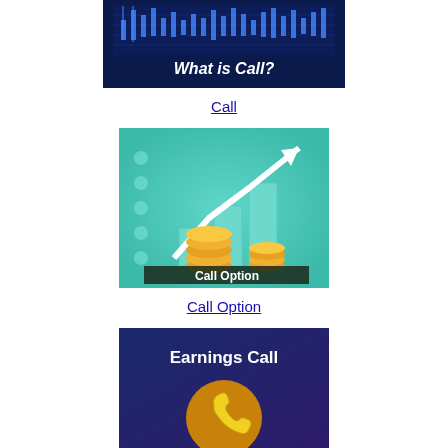[Figure (illustration): Dark blue banner with candlestick chart and text 'What is Call?']
Call
[Figure (illustration): Teal background image showing rising bar chart with upward arrow and two gold coin stacks, labeled 'Call Option']
Call Option
[Figure (illustration): Dark blue/purple banner showing text 'Earnings Call' with a yellow phone icon on a gold circle]